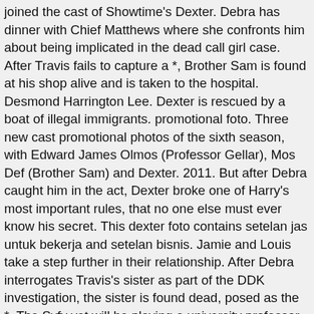joined the cast of Showtime's Dexter. Debra has dinner with Chief Matthews where she confronts him about being implicated in the dead call girl case. After Travis fails to capture a *, Brother Sam is found at his shop alive and is taken to the hospital. Desmond Harrington Lee. Dexter is rescued by a boat of illegal immigrants. promotional foto. Three new cast promotional photos of the sixth season, with Edward James Olmos (Professor Gellar), Mos Def (Brother Sam) and Dexter. 2011. But after Debra caught him in the act, Dexter broke one of Harry's most important rules, that no one else must ever know his secret. This dexter foto contains setelan jas untuk bekerja and setelan bisnis. Jamie and Louis take a step further in their relationship. After Debra interrogates Travis's sister as part of the DDK investigation, the sister is found dead, posed as the *. The Syfy vet will be playing a university professor in a major story arc. The big-hearted Batista took it in stride when Debra was promoted to Lieutenant instead of him, and toyed with the idea of retirement when he bought a beachfront restaurant. A new threat appears in